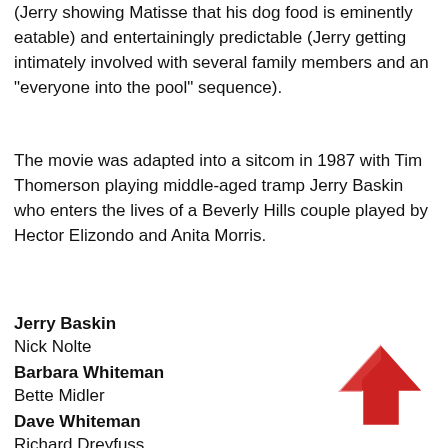(Jerry showing Matisse that his dog food is eminently eatable) and entertainingly predictable (Jerry getting intimately involved with several family members and an “everyone into the pool” sequence).
The movie was adapted into a sitcom in 1987 with Tim Thomerson playing middle-aged tramp Jerry Baskin who enters the lives of a Beverly Hills couple played by Hector Elizondo and Anita Morris.
Jerry Baskin
Nick Nolte
Barbara Whiteman
Bette Midler
Dave Whiteman
Richard Dreyfuss
Jenny Whiteman
Tracy Nelson
Max Whiteman
[Figure (illustration): A red upward-pointing arrow button/icon in the bottom right corner of the page.]